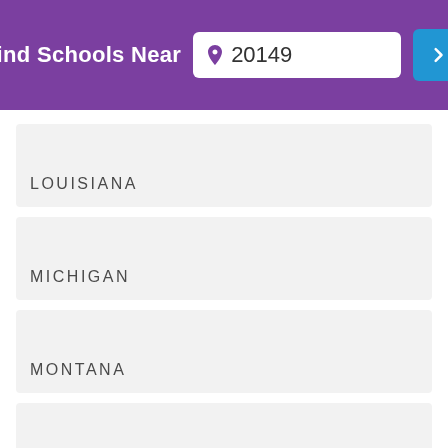[Figure (screenshot): Header bar with 'Find Schools Near' label, a zip code search box showing '20149' with a purple pin icon, and a blue arrow button]
LOUISIANA
MICHIGAN
MONTANA
NEW JERSEY